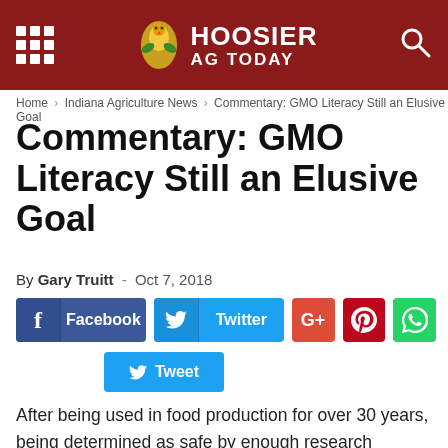HOOSIER AG TODAY
Home › Indiana Agriculture News › Commentary: GMO Literacy Still an Elusive Goal
Commentary: GMO Literacy Still an Elusive Goal
By Gary Truitt - Oct 7, 2018
[Figure (infographic): Social sharing buttons: Facebook, Twitter, G+, Pinterest, WhatsApp, Tweet]
After being used in food production for over 30 years, being determined as safe by enough research studies to fill Ross Ade stadium, and being approved al all U.S. government regulatory agencies, you might think that consumers would have some idea about GMO technology. Yet, a recent study indicates that is not the case. According to a recent survey by GMO Answers, 69% of consumers are not confident they know what GMOs are, and roughly